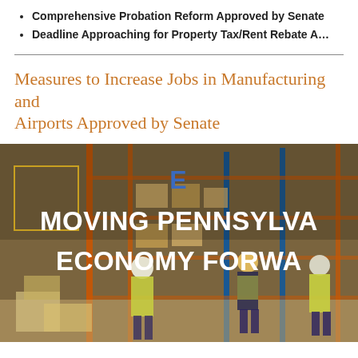Comprehensive Probation Reform Approved by Senate
Deadline Approaching for Property Tax/Rent Rebate A…
Measures to Increase Jobs in Manufacturing and Airports Approved by Senate
[Figure (photo): Warehouse workers in yellow safety vests and hard hats working in a large industrial warehouse with shelving units and boxes. Overlaid text reads 'E' in blue and 'MOVING PENNSYLVANIA ECONOMY FORWARD' in bold white capital letters. A yellow rectangular outline is visible on the left side of the image.]